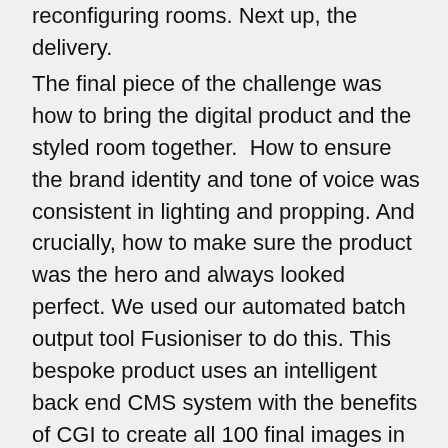reconfiguring rooms. Next up, the delivery.
The final piece of the challenge was how to bring the digital product and the styled room together.  How to ensure the brand identity and tone of voice was consistent in lighting and propping. And crucially, how to make sure the product was the hero and always looked perfect. We used our automated batch output tool Fusioniser to do this. This bespoke product uses an intelligent back end CMS system with the benefits of CGI to create all 100 final images in a fraction of the time traditional production would take.